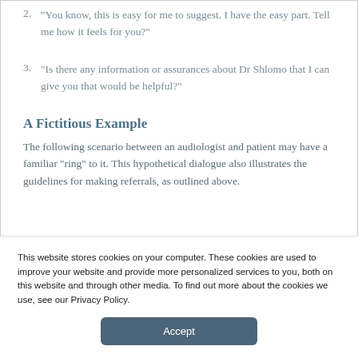2. “You know, this is easy for me to suggest. I have the easy part. Tell me how it feels for you?”
3. “Is there any information or assurances about Dr Shlomo that I can give you that would be helpful?”
A Fictitious Example
The following scenario between an audiologist and patient may have a familiar “ring” to it. This hypothetical dialogue also illustrates the guidelines for making referrals, as outlined above.
This website stores cookies on your computer. These cookies are used to improve your website and provide more personalized services to you, both on this website and through other media. To find out more about the cookies we use, see our Privacy Policy.